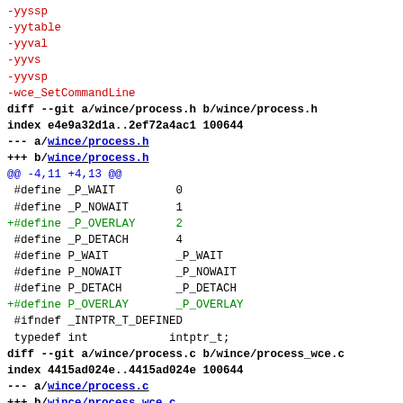-yyssp
-yytable
-yyval
-yyvs
-yyvsp
-wce_SetCommandLine
diff --git a/wince/process.h b/wince/process.h
index e4e9a32d1a..2ef72a4ac1 100644
--- a/wince/process.h
+++ b/wince/process.h
@@ -4,11 +4,13 @@
#define _P_WAIT         0
 #define _P_NOWAIT       1
+#define _P_OVERLAY      2
 #define _P_DETACH       4
#define P_WAIT          _P_WAIT
 #define P_NOWAIT        _P_NOWAIT
 #define P_DETACH        _P_DETACH
+#define P_OVERLAY       _P_OVERLAY
#ifndef _INTPTR_T_DEFINED
 typedef int            intptr_t;
diff --git a/wince/process.c b/wince/process_wce.c
index 4415ad024e..4415ad024e 100644
--- a/wince/process.c
+++ b/wince/process_wce.c